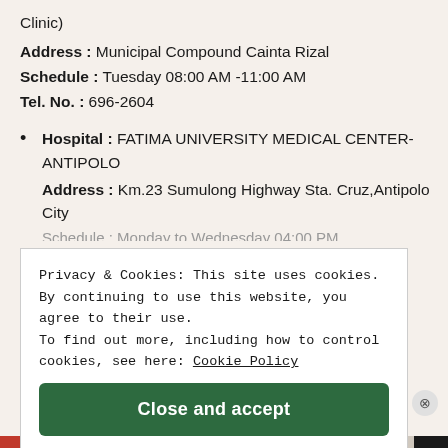Clinic)
Address : Municipal Compound Cainta Rizal
Schedule : Tuesday 08:00 AM -11:00 AM
Tel. No. : 696-2604
Hospital : FATIMA UNIVERSITY MEDICAL CENTER-ANTIPOLO
Address : Km.23 Sumulong Highway Sta. Cruz,Antipolo City
Privacy & Cookies: This site uses cookies. By continuing to use this website, you agree to their use. To find out more, including how to control cookies, see here: Cookie Policy
Close and accept